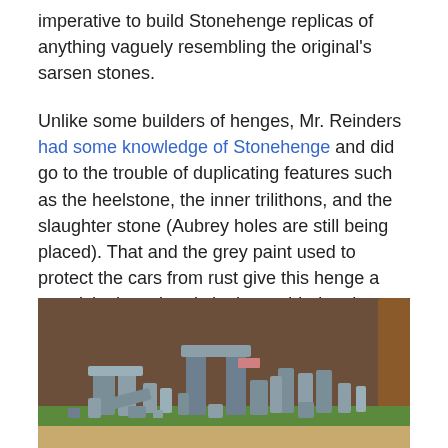imperative to build Stonehenge replicas of anything vaguely resembling the original's sarsen stones.
Unlike some builders of henges, Mr. Reinders had some knowledge of Stonehenge and did go to the trouble of duplicating features such as the heelstone, the inner trilithons, and the slaughter stone (Aubrey holes are still being placed). That and the grey paint used to protect the cars from rust give this henge a surprisingly authentic look considering the materials used. (This is unlike Cadillac Ranch, which is just a row of cars dug part way into the ground.)
[Figure (photo): Photo of miniature grey-painted model Stonehenge made from toy cars, arranged on a green and tan base on a wooden surface.]